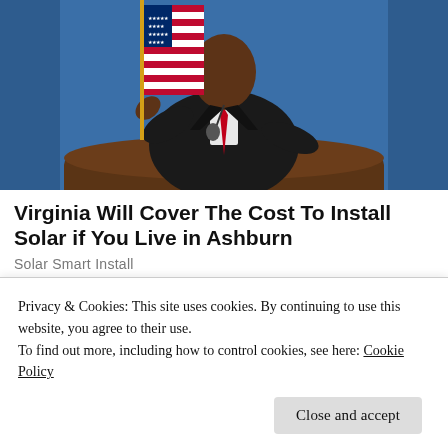[Figure (photo): A man in a dark suit with a red tie stands at a podium with a microphone, pointing toward the camera. An American flag is visible behind him against a blue curtain background.]
Virginia Will Cover The Cost To Install Solar if You Live in Ashburn
Solar Smart Install
Privacy & Cookies: This site uses cookies. By continuing to use this website, you agree to their use.
To find out more, including how to control cookies, see here: Cookie Policy